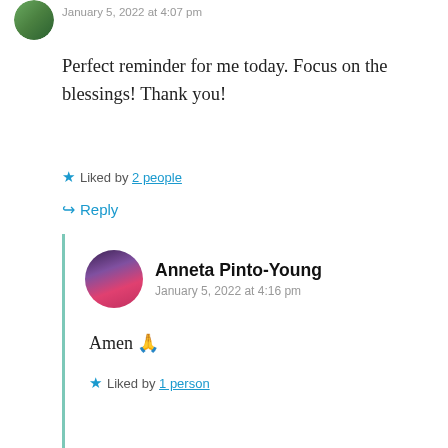[Figure (photo): Avatar photo of commenter, circular, top-left]
January 5, 2022 at 4:07 pm
Perfect reminder for me today. Focus on the blessings! Thank you!
★ Liked by 2 people
↪ Reply
[Figure (photo): Avatar photo of Anneta Pinto-Young, circular]
Anneta Pinto-Young
January 5, 2022 at 4:16 pm
Amen 🙏
★ Liked by 1 person